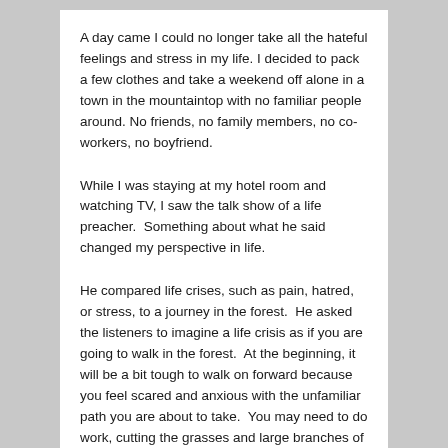A day came I could no longer take all the hateful feelings and stress in my life. I decided to pack a few clothes and take a weekend off alone in a town in the mountaintop with no familiar people around. No friends, no family members, no co-workers, no boyfriend.
While I was staying at my hotel room and watching TV, I saw the talk show of a life preacher.  Something about what he said changed my perspective in life.
He compared life crises, such as pain, hatred, or stress, to a journey in the forest.  He asked the listeners to imagine a life crisis as if you are going to walk in the forest.  At the beginning, it will be a bit tough to walk on forward because you feel scared and anxious with the unfamiliar path you are about to take.  You may need to do work, cutting the grasses and large branches of trees in order to pass by.
The next morning, when you pass by the same route in